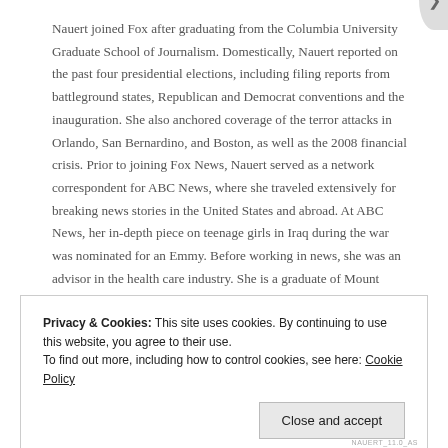Nauert joined Fox after graduating from the Columbia University Graduate School of Journalism. Domestically, Nauert reported on the past four presidential elections, including filing reports from battleground states, Republican and Democrat conventions and the inauguration. She also anchored coverage of the terror attacks in Orlando, San Bernardino, and Boston, as well as the 2008 financial crisis. Prior to joining Fox News, Nauert served as a network correspondent for ABC News, where she traveled extensively for breaking news stories in the United States and abroad. At ABC News, her in-depth piece on teenage girls in Iraq during the war was nominated for an Emmy. Before working in news, she was an advisor in the health care industry. She is a graduate of Mount Vernon College in Washington D.C.
Privacy & Cookies: This site uses cookies. By continuing to use this website, you agree to their use. To find out more, including how to control cookies, see here: Cookie Policy